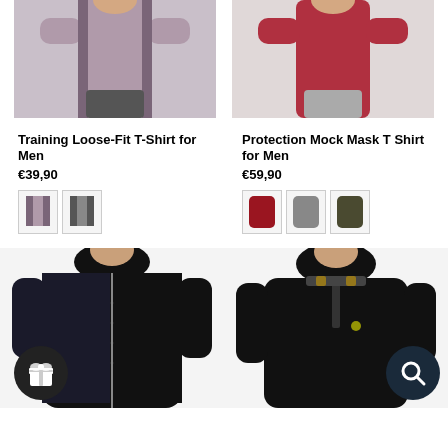[Figure (photo): Man wearing a mauve/purple Training Loose-Fit T-Shirt, upper body visible]
[Figure (photo): Man wearing a red Protection Mock Mask T Shirt, upper body visible]
Training Loose-Fit T-Shirt for Men
€39,90
[Figure (photo): Color swatches: mauve/pink shirt and grey shirt]
Protection Mock Mask T Shirt for Men
€59,90
[Figure (photo): Color swatches: red shirt, grey shirt, olive/dark shirt]
[Figure (photo): Man wearing a black quilted hooded jacket with gold logo, gift icon overlay]
[Figure (photo): Man wearing a black hoodie with gold logo, search/magnify icon overlay]